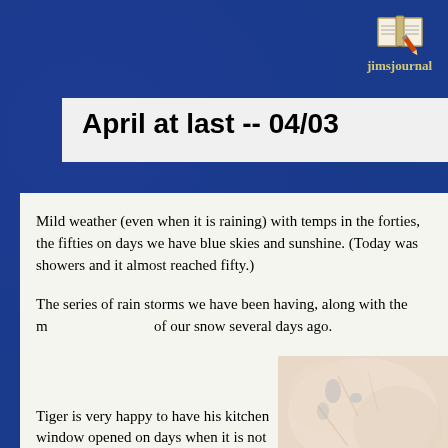[Figure (logo): Jim's Journal logo: open book with pencil icon above text 'jimsjournal']
April at last -- 04/03
Mild weather (even when it is raining) with temps in the forties, the fifties on days we have blue skies and sunshine. (Today was showers and it almost reached fifty.)
The series of rain storms we have been having, along with the mild temps, got rid of our snow several days ago.
Tiger is very happy to have his kitchen window opened on days when it is not raining. Sometimes he sits and listens to...
[Figure (photo): Close-up photo of a cat (Tiger), appearing to be light-colored, partially visible on right side of page]